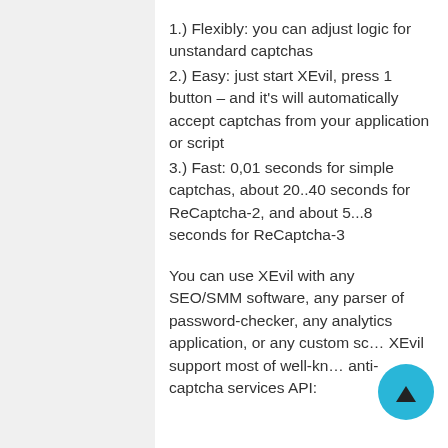1.) Flexibly: you can adjust logic for unstandard captchas
2.) Easy: just start XEvil, press 1 button – and it's will automatically accept captchas from your application or script
3.) Fast: 0,01 seconds for simple captchas, about 20..40 seconds for ReCaptcha-2, and about 5...8 seconds for ReCaptcha-3
You can use XEvil with any SEO/SMM software, any parser of password-checker, any analytics application, or any custom sc… XEvil support most of well-kn… anti-captcha services API: